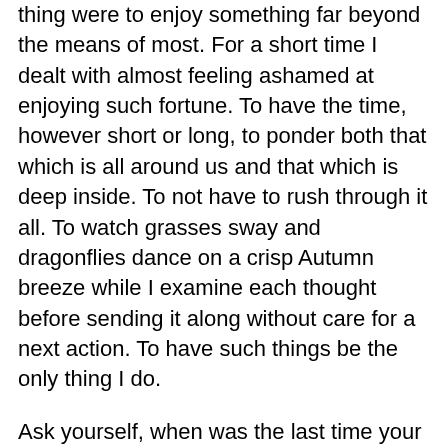thing were to enjoy something far beyond the means of most. For a short time I dealt with almost feeling ashamed at enjoying such fortune. To have the time, however short or long, to ponder both that which is all around us and that which is deep inside. To not have to rush through it all. To watch grasses sway and dragonflies dance on a crisp Autumn breeze while I examine each thought before sending it along without care for a next action. To have such things be the only thing I do.
Ask yourself, when was the last time your were alone. Not just alone in the sense of not having another person around but alone in the completest sense of having no distractions, obligations, tasks, next steps, “should be doings”, or “have to be doings”? Like me before this, I bet the answer was “never”. I feel like I’m now a member of some small, secret, select club. One who not only holds … that b… but it …… The … it …